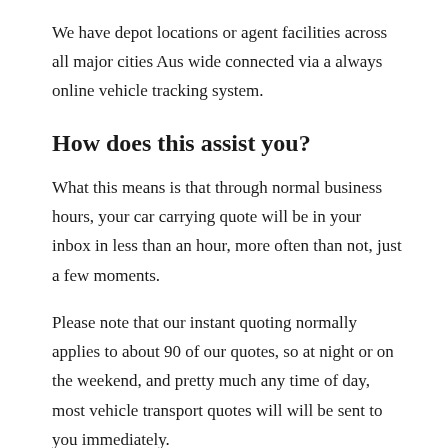We have depot locations or agent facilities across all major cities Aus wide connected via a always online vehicle tracking system.
How does this assist you?
What this means is that through normal business hours, your car carrying quote will be in your inbox in less than an hour, more often than not, just a few moments.
Please note that our instant quoting normally applies to about 90 of our quotes, so at night or on the weekend, and pretty much any time of day, most vehicle transport quotes will will be sent to you immediately.